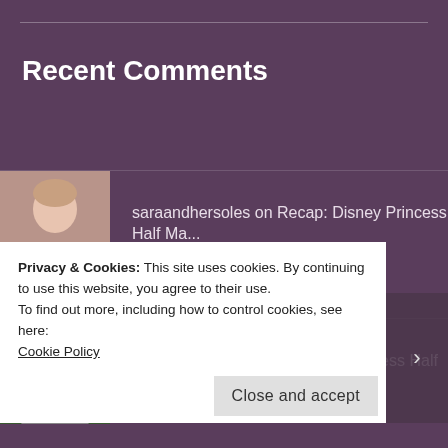Recent Comments
saraandhersoles on Recap: Disney Princess Half Ma...
Amy Zeller on Recap: Disney Princess Half Ma...
saraandhersoles on A few of my favorite running t...
Meghann on A few of my favorite running t...
Privacy & Cookies: This site uses cookies. By continuing to use this website, you agree to their use.
To find out more, including how to control cookies, see here:
Cookie Policy
Close and accept